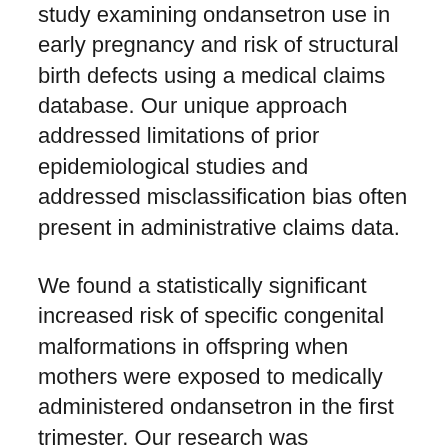study examining ondansetron use in early pregnancy and risk of structural birth defects using a medical claims database. Our unique approach addressed limitations of prior epidemiological studies and addressed misclassification bias often present in administrative claims data.
We found a statistically significant increased risk of specific congenital malformations in offspring when mothers were exposed to medically administered ondansetron in the first trimester. Our research was acclaimed by other experts in the field for its outstanding study design and brought to light safety concerns regarding ondansetron use during pregnancy, leading to further investigation into this matter.
As a result of our study (and others that followed), the European Medicines Agency has